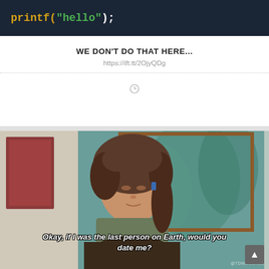[Figure (screenshot): Code snippet on dark navy background showing: printf("hello");]
WE DON'T DO THAT HERE...
https://ift.tt/2OjyQDg
[Figure (photo): Movie/TV scene screenshot of a young woman with curly hair looking sideways, with subtitle text: 'Okay, if I was the last person on Earth, would you date me?' Watermark @TDMSCENES visible.]